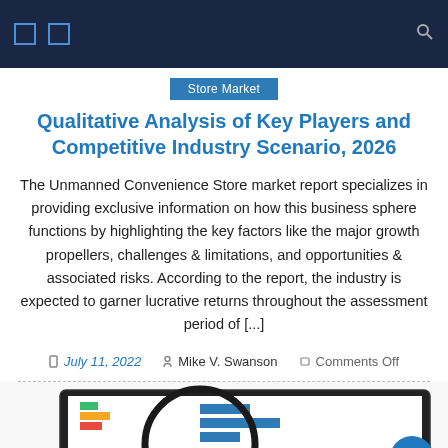Store Market
Qualitative Analysis of Key Players and Competitive Industry Scenario, 2026
The Unmanned Convenience Store market report specializes in providing exclusive information on how this business sphere functions by highlighting the key factors like the major growth propellers, challenges & limitations, and opportunities & associated risks. According to the report, the industry is expected to garner lucrative returns throughout the assessment period of [...]
July 11, 2022  Mike V. Swanson  Comments Off
[Figure (screenshot): Partial view of a market research report screenshot showing bar charts and data tables under a magnifying glass graphic]